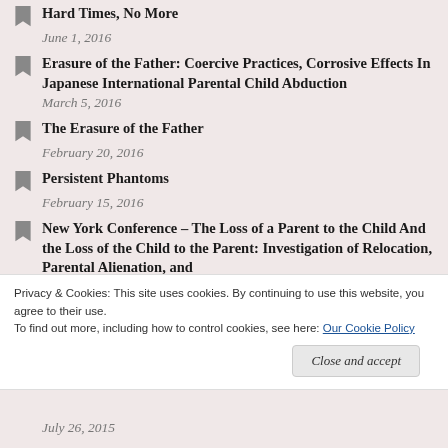Hard Times, No More
June 1, 2016
Erasure of the Father: Coercive Practices, Corrosive Effects In Japanese International Parental Child Abduction
March 5, 2016
The Erasure of the Father
February 20, 2016
Persistent Phantoms
February 15, 2016
New York Conference – The Loss of a Parent to the Child And the Loss of the Child to the Parent: Investigation of Relocation, Parental Alienation, and
Privacy & Cookies: This site uses cookies. By continuing to use this website, you agree to their use.
To find out more, including how to control cookies, see here: Our Cookie Policy
Close and accept
July 26, 2015